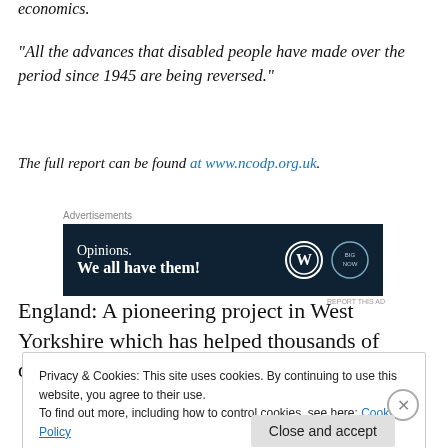economics.
“All the advances that disabled people have made over the period since 1945 are being reversed.”
The full report can be found at www.ncodp.org.uk.
[Figure (other): Advertisement banner with dark navy background reading 'Opinions. We all have them!' with WordPress and another logo on the right.]
England: A pioneering project in West Yorkshire which has helped thousands of disabled people into work and
Privacy & Cookies: This site uses cookies. By continuing to use this website, you agree to their use. To find out more, including how to control cookies, see here: Cookie Policy